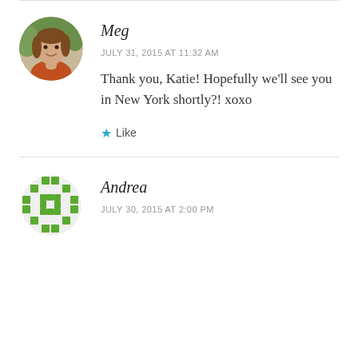[Figure (photo): Circular avatar photo of Meg, a woman with brown wavy hair smiling, wearing an orange top]
Meg
JULY 31, 2015 AT 11:32 AM
Thank you, Katie! Hopefully we'll see you in New York shortly?! xoxo
★ Like
[Figure (logo): Circular green pixel/quilt pattern avatar for Andrea]
Andrea
JULY 30, 2015 AT 2:00 PM